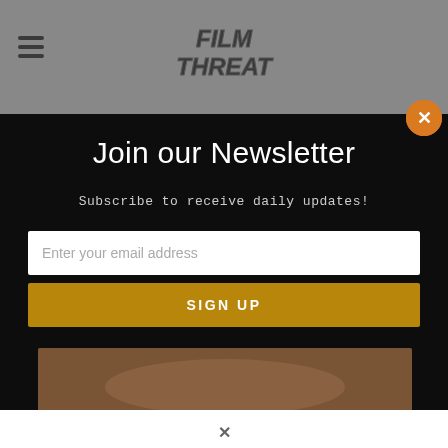[Figure (logo): Film Threat website logo with hamburger menu icon]
Join our Newsletter
Subscribe to receive daily updates!
Enter your email address
SIGN UP
[Figure (photo): Partial movie image visible at bottom of page]